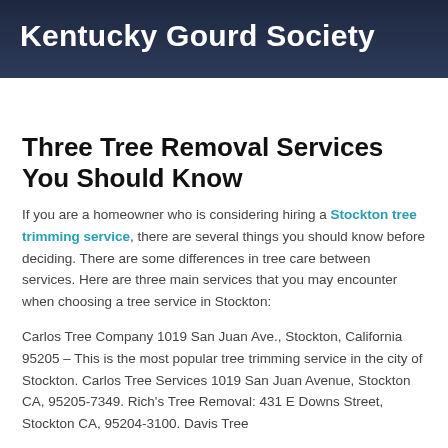Kentucky Gourd Society
Three Tree Removal Services You Should Know
If you are a homeowner who is considering hiring a Stockton tree trimming service, there are several things you should know before deciding. There are some differences in tree care between services. Here are three main services that you may encounter when choosing a tree service in Stockton:
Carlos Tree Company 1019 San Juan Ave., Stockton, California 95205 – This is the most popular tree trimming service in the city of Stockton. Carlos Tree Services 1019 San Juan Avenue, Stockton CA, 95205-7349. Rich's Tree Removal: 431 E Downs Street, Stockton CA, 95204-3100. Davis Tree